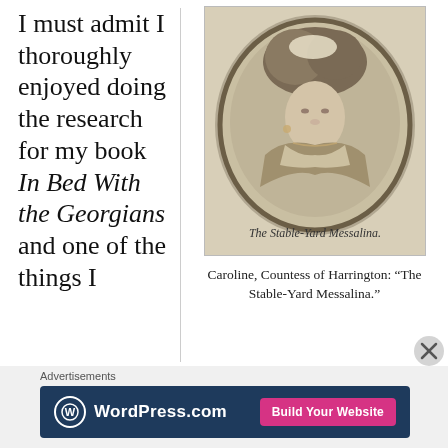I must admit I thoroughly enjoyed doing the research for my book In Bed With the Georgians and one of the things I
[Figure (illustration): Oval portrait engraving of a woman with elaborate 18th-century upswept hairstyle, wearing a low-cut dress, with handwritten caption 'The Stable-Yard Messalina' below.]
Caroline, Countess of Harrington: “The Stable-Yard Messalina.”
Advertisements
[Figure (screenshot): WordPress.com advertisement banner with dark blue background, WordPress logo on left, and pink 'Build Your Website' button on right.]